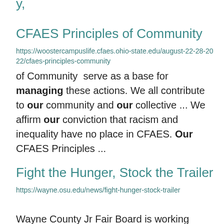CFAES Principles of Community
https://woostercampuslife.cfaes.ohio-state.edu/august-22-28-2022/cfaes-principles-community
of Community  serve as a base for managing these actions. We all contribute to our community and our collective ... We affirm our conviction that racism and inequality have no place in CFAES. Our CFAES Principles ...
Fight the Hunger, Stock the Trailer
https://wayne.osu.edu/news/fight-hunger-stock-trailer
Wayne County Jr Fair Board is working